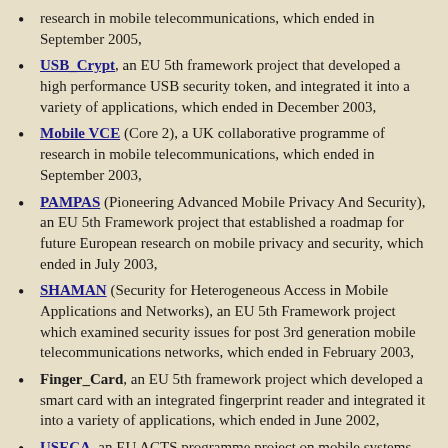research in mobile telecommunications, which ended in September 2005,
USB_Crypt, an EU 5th framework project that developed a high performance USB security token, and integrated it into a variety of applications, which ended in December 2003,
Mobile VCE (Core 2), a UK collaborative programme of research in mobile telecommunications, which ended in September 2003,
PAMPAS (Pioneering Advanced Mobile Privacy And Security), an EU 5th Framework project that established a roadmap for future European research on mobile privacy and security, which ended in July 2003,
SHAMAN (Security for Heterogeneous Access in Mobile Applications and Networks), an EU 5th Framework project which examined security issues for post 3rd generation mobile telecommunications networks, which ended in February 2003,
Finger_Card, an EU 5th framework project which developed a smart card with an integrated fingerprint reader and integrated it into a variety of applications, which ended in June 2002,
USECA, an EU ACTS programme project on mobile systems security, which ended in 2000 (in which RHUL acted as a sub-contractor),
ASPeCT, an EU ACTS programme project on security for